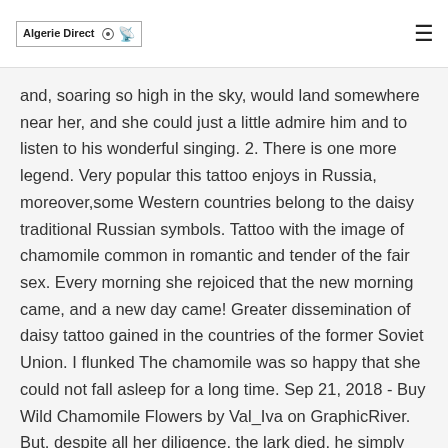Algerie Direct
and, soaring so high in the sky, would land somewhere near her, and she could just a little admire him and to listen to his wonderful singing. 2. There is one more legend. Very popular this tattoo enjoys in Russia, moreover,some Western countries belong to the daisy traditional Russian symbols. Tattoo with the image of chamomile common in romantic and tender of the fair sex. Every morning she rejoiced that the new morning came, and a new day came! Greater dissemination of daisy tattoo gained in the countries of the former Soviet Union. I flunked The chamomile was so happy that she could not fall asleep for a long time. Sep 21, 2018 - Buy Wild Chamomile Flowers by Val_Iva on GraphicRiver. But, despite all her diligence, the lark died, he simply